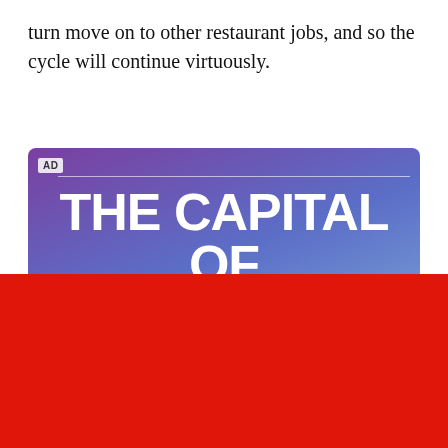turn move on to other restaurant jobs, and so the cycle will continue virtuously.
[Figure (screenshot): Advertisement banner with purple gradient background showing large white bold text 'THE CAPITAL OF' and partially visible 'BEST DAY EVER' below a horizontal white line. AD label in top left corner.]
close ×
Sign up for the Eater newsletter
The freshest news from the food world every day
Email (required)
SUBSCRIBE
By submitting your email, you agree to our Terms and Privacy Notice. You can opt out at any time. This site is protected by reCAPTCHA and the Google Privacy Policy and Terms of Service apply.